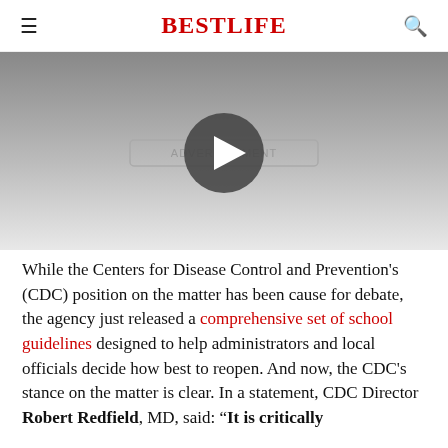BestLife
[Figure (screenshot): Video player area with gray gradient background, advertisement badge and play button overlay]
While the Centers for Disease Control and Prevention's (CDC) position on the matter has been cause for debate, the agency just released a comprehensive set of school guidelines designed to help administrators and local officials decide how best to reopen. And now, the CDC's stance on the matter is clear. In a statement, CDC Director Robert Redfield, MD, said: "It is critically